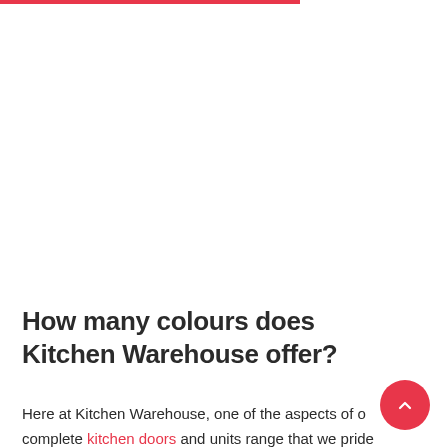How many colours does Kitchen Warehouse offer?
Here at Kitchen Warehouse, one of the aspects of our complete kitchen doors and units range that we pride